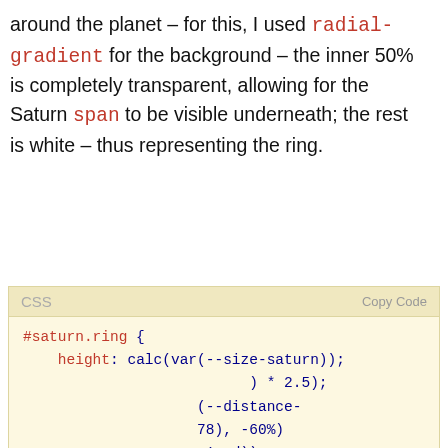around the planet – for this, I used radial-gradient for the background – the inner 50% is completely transparent, allowing for the Saturn span to be visible underneath; the rest is white – thus representing the ring.
[Figure (screenshot): CSS code block with syntax highlighting showing #saturn.ring selector with height: calc(var(--size-saturn)) and other partially visible properties]
[Figure (screenshot): Cookie consent banner with orange background overlaying the code block. Contains text about cookies, links to Cookie Policy, Privacy Policy, Terms of Service, Learn more link, and three buttons: Ask me later, Decline, Allow cookies]